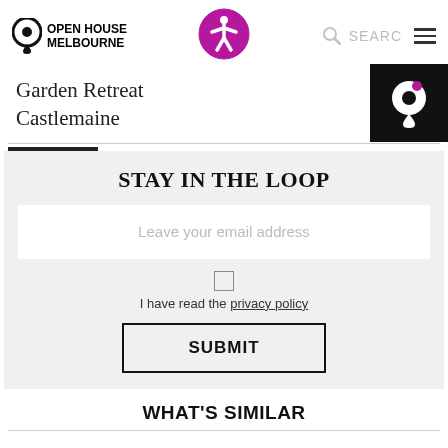Open House Melbourne
Garden Retreat
Castlemaine
STAY IN THE LOOP
Leave your email address
I have read the privacy policy
SUBMIT
WHAT'S SIMILAR